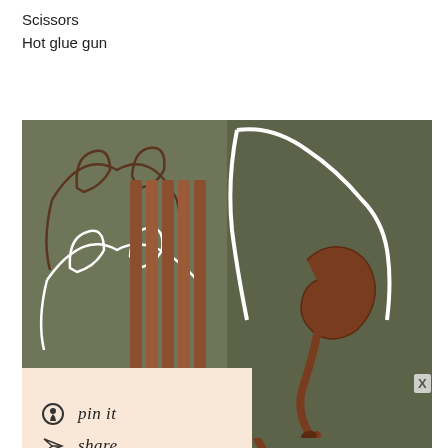Scissors
Hot glue gun
[Figure (photo): DIY deer ears headband craft tutorial showing wire headband frames with ear shapes, strips of brown leather/fabric, and assembled brown leather-wrapped headband with twisted accent piece, in two side-by-side photos on olive/khaki background]
[Figure (photo): Bottom row of craft tutorial photos showing completed headband details]
pin it
share
tweet
X